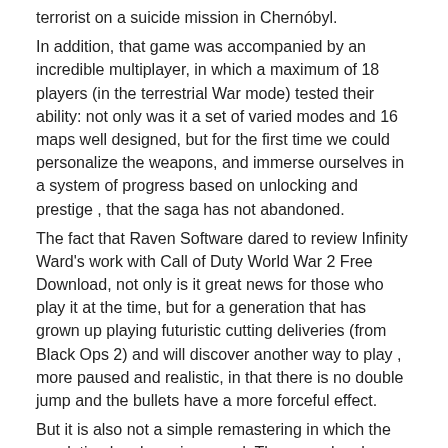terrorist on a suicide mission in Chernóbyl.
In addition, that game was accompanied by an incredible multiplayer, in which a maximum of 18 players (in the terrestrial War mode) tested their ability: not only was it a set of varied modes and 16 maps well designed, but for the first time we could personalize the weapons, and immerse ourselves in a system of progress based on unlocking and prestige , that the saga has not abandoned.
The fact that Raven Software dared to review Infinity Ward's work with Call of Duty World War 2 Free Download, not only is it great news for those who play it at the time, but for a generation that has grown up playing futuristic cutting deliveries (from Black Ops 2) and will discover another way to play , more paused and realistic, in that there is no double jump and the bullets have a more forceful effect.
But it is also not a simple remastering in which the resolution has been improved; The game has been completely rebuilt so that it does not accuse the passage of time. This is one of the great incentives to buy infinite warfare. Call of Duty World War 2 Download Free link right above!